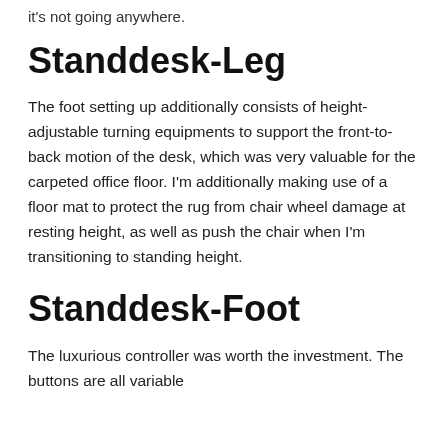it's not going anywhere.
Standdesk-Leg
The foot setting up additionally consists of height-adjustable turning equipments to support the front-to-back motion of the desk, which was very valuable for the carpeted office floor. I'm additionally making use of a floor mat to protect the rug from chair wheel damage at resting height, as well as push the chair when I'm transitioning to standing height.
Standdesk-Foot
The luxurious controller was worth the investment. The buttons are all variable